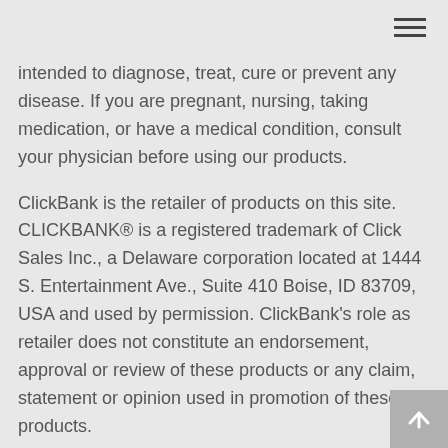intended to diagnose, treat, cure or prevent any disease. If you are pregnant, nursing, taking medication, or have a medical condition, consult your physician before using our products.
ClickBank is the retailer of products on this site. CLICKBANK® is a registered trademark of Click Sales Inc., a Delaware corporation located at 1444 S. Entertainment Ave., Suite 410 Boise, ID 83709, USA and used by permission. ClickBank's role as retailer does not constitute an endorsement, approval or review of these products or any claim, statement or opinion used in promotion of these products.
Customer Support